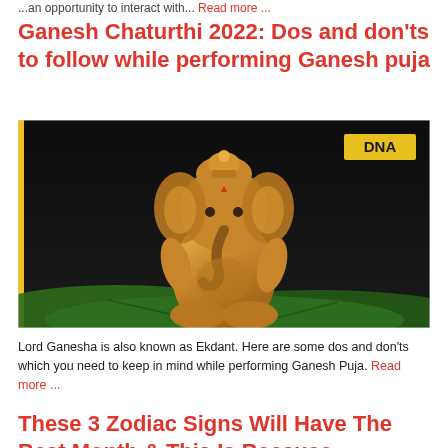...an opportunity to interact with... Read more ...
Ganesh Chaturthi 2022: Dos and don'ts to follow while performing Ganesh puja
[Figure (photo): Golden Ganesha idol statue seated on green leaves with dark background, DNA watermark in top right corner]
Lord Ganesha is also known as Ekdant. Here are some dos and don'ts which you need to keep in mind while performing Ganesh Puja. Read more ...
These 3 Zodiac Signs Will Have The Best Month & This Is Because...